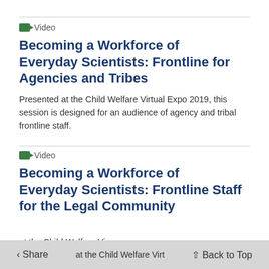Video
Becoming a Workforce of Everyday Scientists: Frontline for Agencies and Tribes
Presented at the Child Welfare Virtual Expo 2019, this session is designed for an audience of agency and tribal frontline staff.
Video
Becoming a Workforce of Everyday Scientists: Frontline Staff for the Legal Community
Presented at the Child Welfare Virtual Expo 2019, this session is designed for an audience of legal
Share  Back to Top